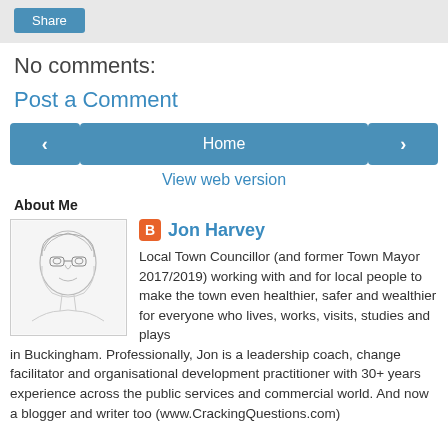[Figure (screenshot): Share button in a gray toolbar at the top of a blog page]
No comments:
Post a Comment
[Figure (screenshot): Navigation row with left arrow button, Home button, and right arrow button]
View web version
About Me
[Figure (illustration): Pencil sketch portrait of Jon Harvey]
Jon Harvey
Local Town Councillor (and former Town Mayor 2017/2019) working with and for local people to make the town even healthier, safer and wealthier for everyone who lives, works, visits, studies and plays in Buckingham. Professionally, Jon is a leadership coach, change facilitator and organisational development practitioner with 30+ years experience across the public services and commercial world. And now a blogger and writer too (www.CrackingQuestions.com)